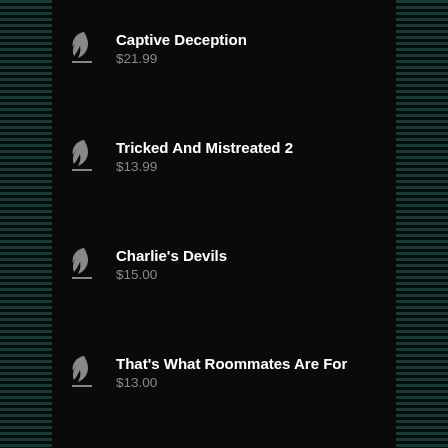Captive Deception
$21.99
Tricked And Mistreated 2
$13.99
Charlie's Devils
$15.00
That's What Roommates Are For
$13.00
Rage Within The Machine 2
$13.99
Two New Recruits
$13.99